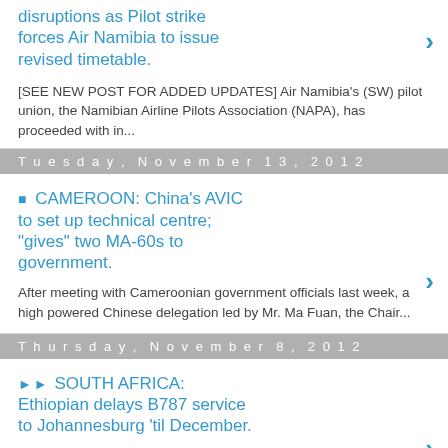disruptions as Pilot strike forces Air Namibia to issue revised timetable.
[SEE NEW POST FOR ADDED UPDATES] Air Namibia's (SW) pilot union, the Namibian Airline Pilots Association (NAPA), has proceeded with in...
Tuesday, November 13, 2012
CAMEROON: China's AVIC to set up technical centre; "gives" two MA-60s to government.
After meeting with Cameroonian government officials last week, a high powered Chinese delegation led by Mr. Ma Fuan, the Chair...
Thursday, November 8, 2012
SOUTH AFRICA: Ethiopian delays B787 service to Johannesburg 'til December.